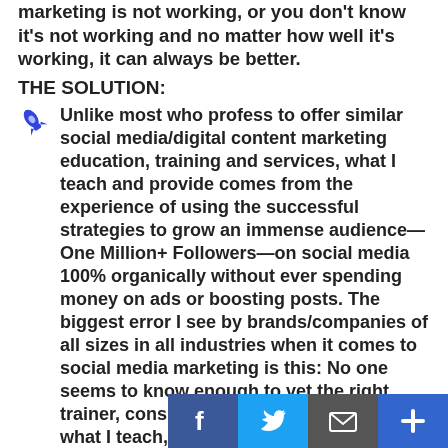THE PROBLEM: Either your social media/digital marketing is not working, or you don't know it's not working and no matter how well it's working, it can always be better.
THE SOLUTION:
Unlike most who profess to offer similar social media/digital content marketing education, training and services, what I teach and provide comes from the experience of using the successful strategies to grow an immense audience—One Million+ Followers—on social media 100% organically without ever spending money on ads or boosting posts. The biggest error I see by brands/companies of all sizes in all industries when it comes to social media marketing is this: No one seems to know enough to vet the right trainer, consultant or provider. If you apply what I teach, or hire us to be your service provider in part...